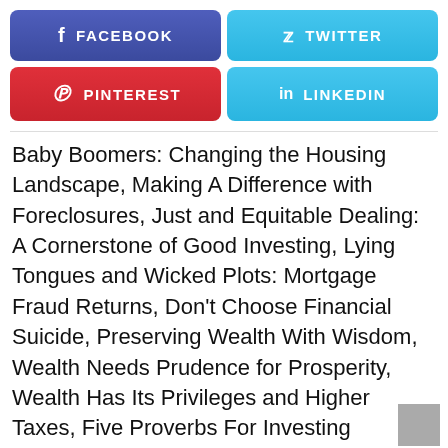[Figure (other): Social media share buttons: Facebook (purple-blue), Twitter (light blue), Pinterest (red), LinkedIn (light blue)]
Baby Boomers: Changing the Housing Landscape, Making A Difference with Foreclosures, Just and Equitable Dealing: A Cornerstone of Good Investing, Lying Tongues and Wicked Plots: Mortgage Fraud Returns, Don't Choose Financial Suicide, Preserving Wealth With Wisdom, Wealth Needs Prudence for Prosperity, Wealth Has Its Privileges and Higher Taxes, Five Proverbs For Investing Success, The Shadow Inventory and Housing Recovery, Would Solomon Approve of the Fiscal Cliff Deal?, Home Ownership: Not What it Used to Be, Mortgage